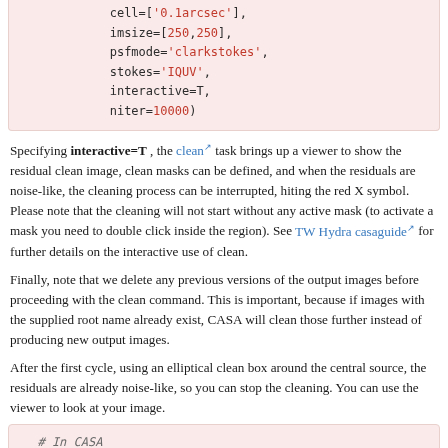cell=['0.1arcsec'],
imsize=[250,250],
psfmode='clarkstokes',
stokes='IQUV',
interactive=T,
niter=10000)
Specifying interactive=T , the clean task brings up a viewer to show the residual clean image, clean masks can be defined, and when the residuals are noise-like, the cleaning process can be interrupted, hiting the red X symbol. Please note that the cleaning will not start without any active mask (to activate a mask you need to double click inside the region). See TW Hydra casaguide for further details on the interactive use of clean.
Finally, note that we delete any previous versions of the output images before proceeding with the clean command. This is important, because if images with the supplied root name already exist, CASA will clean those further instead of producing new output images.
After the first cycle, using an elliptical clean box around the central source, the residuals are already noise-like, so you can stop the cleaning. You can use the viewer to look at your image.
# In CASA
viewer('3c286.cal.StokesIQUV_noselfcal.clean.image'
)